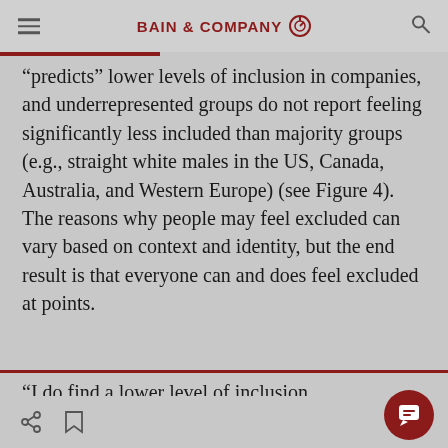BAIN & COMPANY
“predicts” lower levels of inclusion in companies, and underrepresented groups do not report feeling significantly less included than majority groups (e.g., straight white males in the US, Canada, Australia, and Western Europe) (see Figure 4). The reasons why people may feel excluded can vary based on context and identity, but the end result is that everyone can and does feel excluded at points.
“I do find a lower level of inclusion…